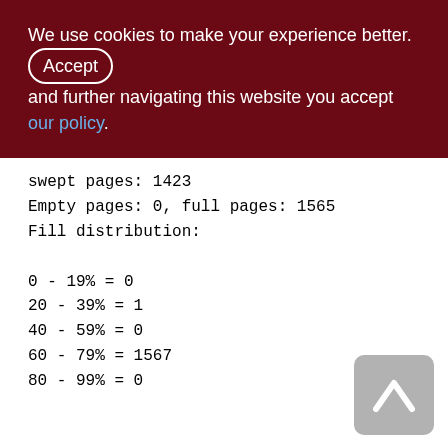We use cookies to make your experience better. By accepting and further navigating this website you accept our policy.
swept pages: 1423
Empty pages: 0, full pages: 1565
Fill distribution:
0 - 19% = 0
20 - 39% = 1
40 - 59% = 0
60 - 79% = 1567
80 - 99% = 0
Index DOC_LIST_ID_DESC (1)
Root page: 1837, depth: 2, leaf buckets: 391, nodes: 129737
Average node length: 11.47, total dup: 0